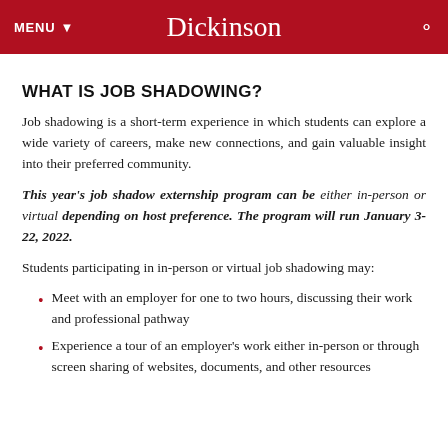MENU  Dickinson
WHAT IS JOB SHADOWING?
Job shadowing is a short-term experience in which students can explore a wide variety of careers, make new connections, and gain valuable insight into their preferred community.
This year's job shadow externship program can be either in-person or virtual depending on host preference. The program will run January 3-22, 2022.
Students participating in in-person or virtual job shadowing may:
Meet with an employer for one to two hours, discussing their work and professional pathway
Experience a tour of an employer's work either in-person or through screen sharing of websites, documents, and other resources